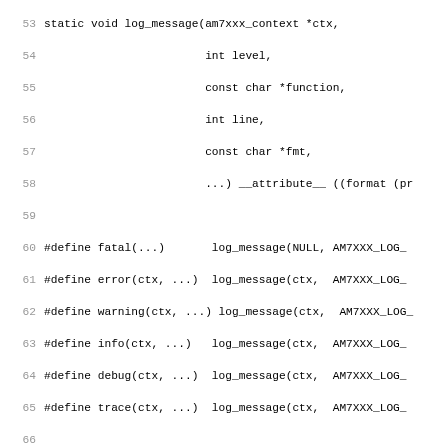[Figure (screenshot): Source code listing in C showing lines 53-85 of a header file defining log_message function, macros for logging levels (fatal, error, warning, info, debug, trace), quirk defines, am7xxx_usb_device_descriptor struct, and the beginning of a supported devices array with an Acer C110 entry.]